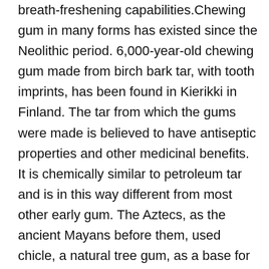breath-freshening capabilities.Chewing gum in many forms has existed since the Neolithic period. 6,000-year-old chewing gum made from birch bark tar, with tooth imprints, has been found in Kierikki in Finland. The tar from which the gums were made is believed to have antiseptic properties and other medicinal benefits. It is chemically similar to petroleum tar and is in this way different from most other early gum. The Aztecs, as the ancient Mayans before them, used chicle, a natural tree gum, as a base for making a gum-like substance and to stick objects together in everyday use. Forms of chewing gums were also chewed in Ancient Greece. The Ancient Greeks chewed mastic gum, made from the resin of the mastic tree. Mastic gum, like birch bark tar, has antiseptic properties and is believed to have been used to maintain oral health. Both chicle and mastic are tree resins. Many other cultures have chewed gum-like substances made from plants, grasses, and resins.